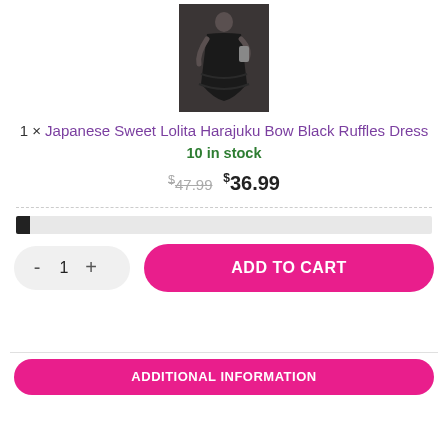[Figure (photo): Product photo of a black Lolita dress on a person, shown from above on dark background]
1 × Japanese Sweet Lolita Harajuku Bow Black Ruffles Dress
10 in stock
$47.99  $36.99
[Figure (infographic): Horizontal progress bar showing stock level, nearly empty with small dark fill on left]
- 1 + ADD TO CART
ADDITIONAL INFORMATION